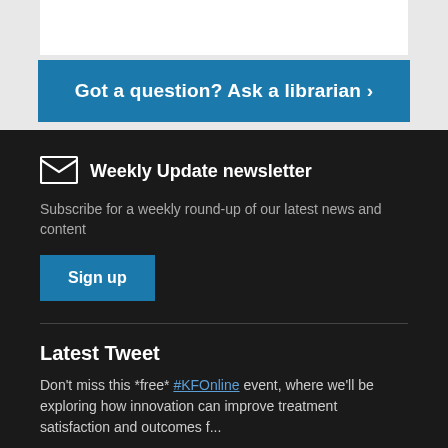Got a question? Ask a librarian ›
Weekly Update newsletter
Subscribe for a weekly round-up of our latest news and content
Sign up
Latest Tweet
Don't miss this *free* #KFOnline event, where we'll be exploring how innovation can improve treatment satisfaction and outcomes f...